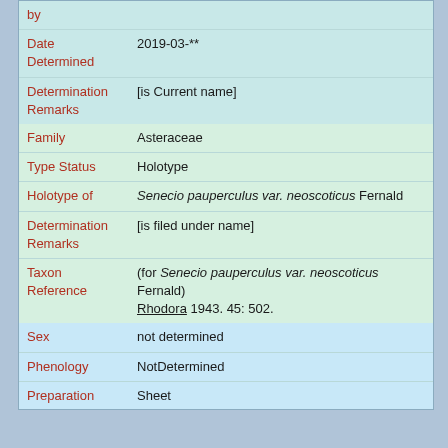| Field | Value |
| --- | --- |
| by |  |
| Date Determined | 2019-03-** |
| Determination Remarks | [is Current name] |
| Family | Asteraceae |
| Type Status | Holotype |
| Holotype of | Senecio pauperculus var. neoscoticus Fernald |
| Determination Remarks | [is filed under name] |
| Taxon Reference | (for Senecio pauperculus var. neoscoticus Fernald)
Rhodora 1943. 45: 502. |
| Sex | not determined |
| Phenology | NotDetermined |
| Preparation Type | Sheet |
| Preparation Method | Pressed |
Remarks Sheet 2 of 2 (See record number 12004)